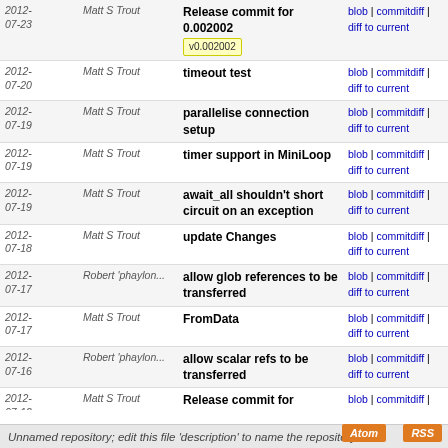| Date | Author | Commit Message | Links |
| --- | --- | --- | --- |
| 2012-07-23 | Matt S Trout | Release commit for 0.002002
v0.002002 | blob | commitdiff | diff to current |
| 2012-07-20 | Matt S Trout | timeout test | blob | commitdiff | diff to current |
| 2012-07-19 | Matt S Trout | parallelise connection setup | blob | commitdiff | diff to current |
| 2012-07-19 | Matt S Trout | timer support in MiniLoop | blob | commitdiff | diff to current |
| 2012-07-19 | Matt S Trout | await_all shouldn't short circuit on an exception | blob | commitdiff | diff to current |
| 2012-07-18 | Matt S Trout | update Changes | blob | commitdiff | diff to current |
| 2012-07-17 | Robert 'phaylon... | allow glob references to be transferred | blob | commitdiff | diff to current |
| 2012-07-17 | Matt S Trout | FromData | blob | commitdiff | diff to current |
| 2012-07-16 | Robert 'phaylon... | allow scalar refs to be transferred | blob | commitdiff | diff to current |
| 2012-07-12 | Matt S Trout | Release commit for 0.001001
v0.001001 | blob | commitdiff | diff to current |
| 2012-07-12 | Matt S Trout | indent Changes | blob | commitdiff | diff to current |
| 2012-07-12 | Matt S Trout | initial changes and version | blob | commitdiff | diff to current |
Unnamed repository; edit this file 'description' to name the repository.